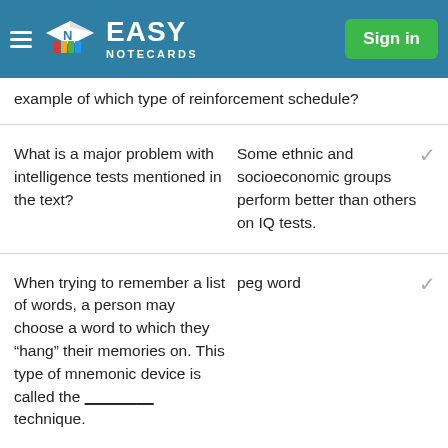Easy Notecards — Sign in
example of which type of reinforcement schedule?
| Question | Answer |
| --- | --- |
| What is a major problem with intelligence tests mentioned in the text? | Some ethnic and socioeconomic groups perform better than others on IQ tests. |
| When trying to remember a list of words, a person may choose a word to which they “hang” their memories on. This type of mnemonic device is called the ________ technique. | peg word |
…bottom partial row…